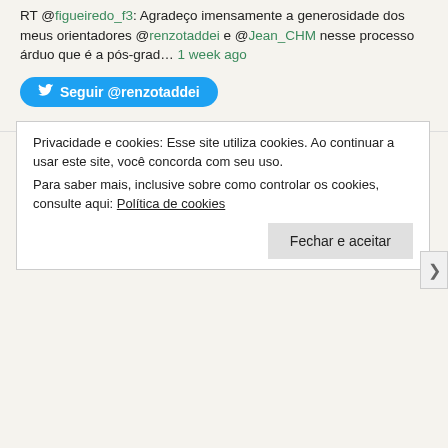RT @figueiredo_f3: Agradeço imensamente a generosidade dos meus orientadores @renzotaddei e @Jean_CHM nesse processo árduo que é a pós-grad… 1 week ago
Seguir @renzotaddei
Postagens recentes
The Coming California Megastorm (New York Times)
Cloud Wars: Mideast Rivalries Rise Along a New Front (New York Times)
Privacidade e cookies: Esse site utiliza cookies. Ao continuar a usar este site, você concorda com seu uso.
Para saber mais, inclusive sobre como controlar os cookies, consulte aqui:
Política de cookies
Fechar e aceitar